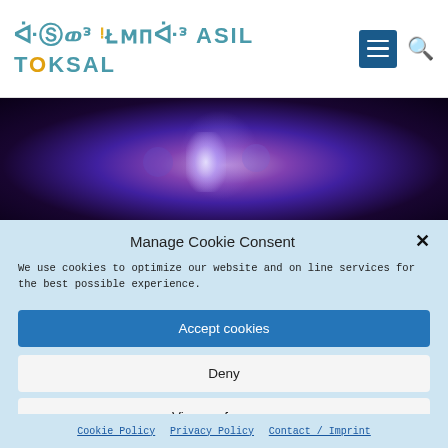ASIL TOKSAL
[Figure (photo): Dark mystical hero image with purple and white glowing light effect against dark background]
Manage Cookie Consent
We use cookies to optimize our website and online services for the best possible experience.
Accept cookies
Deny
View preferences
Cookie Policy   Privacy Policy   Contact / Imprint